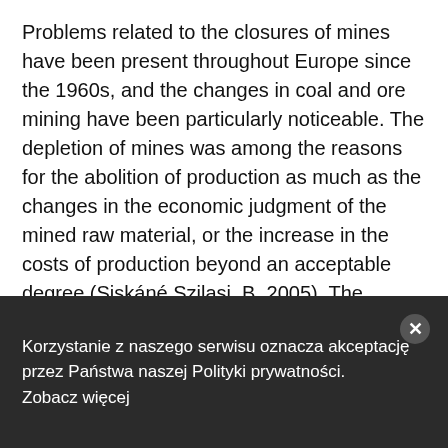Problems related to the closures of mines have been present throughout Europe since the 1960s, and the changes in coal and ore mining have been particularly noticeable. The depletion of mines was among the reasons for the abolition of production as much as the changes in the economic judgment of the mined raw material, or the increase in the costs of production beyond an acceptable degree (Siskáné Szilasi, B. 2005). The abandoned mines, the former mining facilities, buildings and industrial sites have raised both environmental and socio-economic problems.
Korzystanie z naszego serwisu oznacza akceptację przez Państwa naszej Polityki prywatności. Zobacz więcej